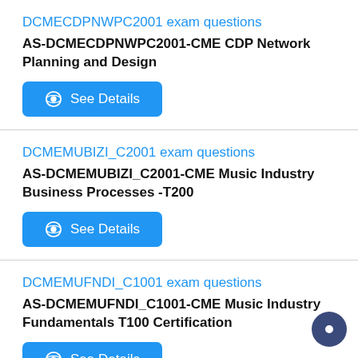DCMECDPNWPC2001 exam questions
AS-DCMECDPNWPC2001-CME CDP Network Planning and Design
See Details
DCMEMUBIZI_C2001 exam questions
AS-DCMEMUBIZI_C2001-CME Music Industry Business Processes -T200
See Details
DCMEMUFNDI_C1001 exam questions
AS-DCMEMUFNDI_C1001-CME Music Industry Fundamentals T100 Certification
See Details